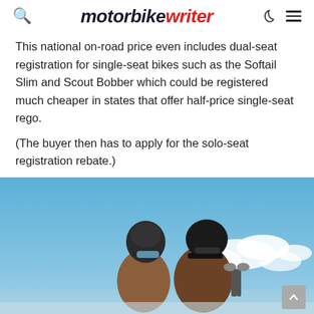motorbike writer
This national on-road price even includes dual-seat registration for single-seat bikes such as the Softail Slim and Scout Bobber which could be registered much cheaper in states that offer half-price single-seat rego.
(The buyer then has to apply for the solo-seat registration rebate.)
[Figure (photo): Two riders on a motorcycle against a blue sky. The rear passenger wears a brown leather jacket and a dark helmet with visor. The front rider wears a brown jacket, sunglasses, and a dark open-face helmet. A motorcycle mirror is visible.]